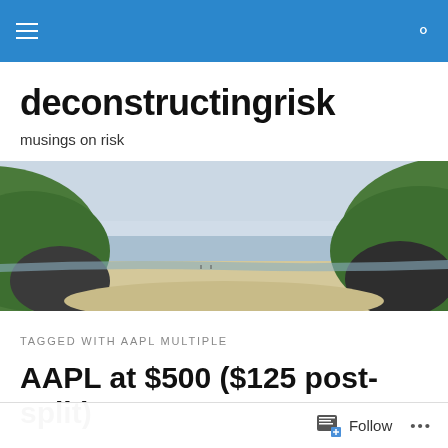deconstructingrisk — navigation bar
deconstructingrisk
musings on risk
[Figure (photo): Panoramic photo of a sandy beach flanked by green grassy cliffs on both sides, with calm water and an overcast sky in the background.]
TAGGED WITH AAPL MULTIPLE
AAPL at $500 ($125 post-split)
Back in early May, I postulated about AAPL's future. In a
Follow